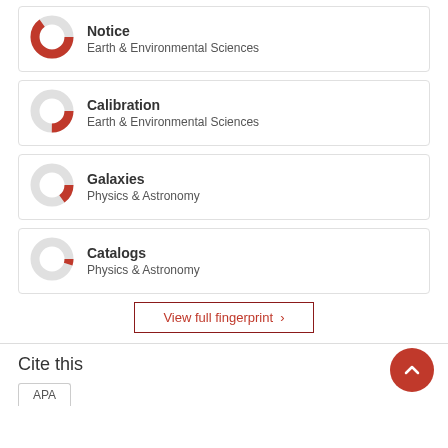[Figure (donut-chart): Donut chart showing high fill (~90%) in red for Notice - Earth & Environmental Sciences]
Notice
Earth & Environmental Sciences
[Figure (donut-chart): Donut chart showing medium fill (~50%) in red for Calibration - Earth & Environmental Sciences]
Calibration
Earth & Environmental Sciences
[Figure (donut-chart): Donut chart showing medium fill (~40%) in red for Galaxies - Physics & Astronomy]
Galaxies
Physics & Astronomy
[Figure (donut-chart): Donut chart showing lower fill (~30%) in red for Catalogs - Physics & Astronomy]
Catalogs
Physics & Astronomy
View full fingerprint >
Cite this
APA